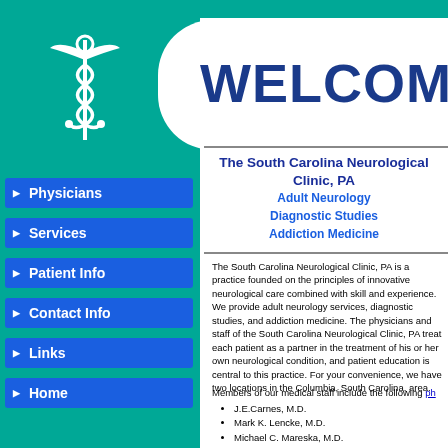[Figure (logo): Caduceus medical symbol in white on teal/green background]
WELCOME
Physicians
Services
Patient Info
Contact Info
Links
Home
The South Carolina Neurological Clinic, PA
Adult Neurology
Diagnostic Studies
Addiction Medicine
The South Carolina Neurological Clinic, PA is a practice founded on the principles of innovative neurological care combined with skill and experience. We provide adult neurology services, diagnostic studies, and addiction medicine. The physicians and staff of the South Carolina Neurological Clinic, PA treat each patient as a partner in the treatment of his or her own neurological condition, and patient education is central to this practice. For your convenience, we have two locations in the Columbia, South Carolina, area.
Members of our medical staff include the following physicians:
J.E.Carnes, M.D.
Mark K. Lencke, M.D.
Michael C. Mareska, M.D.